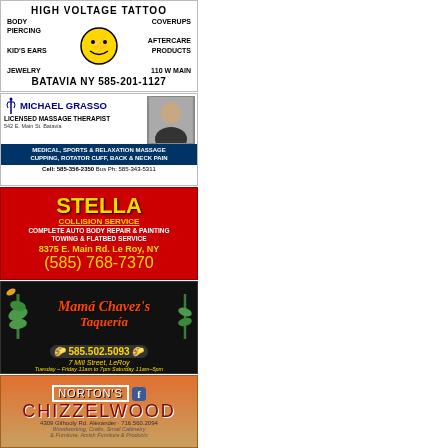[Figure (illustration): High Voltage Tattoo advertisement with smiley face logo. Text: HIGH VOLTAGE TATTOO, BODY PIERCING, KID'S EARS, JEWELRY, COVERUPS, AFTERCARE PRODUCTS, 110 W MAIN, BATAVIA NY 585-201-1127]
[Figure (illustration): Michael Grasso Licensed Massage Therapist ad with photo. 542 E. Main St. Batavia. Medical, Sports & Relaxation Massage. Cupping, Rotator Cuff, Back & Neck Pain. Cell: 585-356-2350 Bus Ph: 585-343-5311]
[Figure (illustration): Stella Collision Service ad on red background. Complete Auto Body Repair & Painting, Towing & Flatbed Service. 8375 E. Main Rd. Le Roy, NY. (585) 768-7370]
[Figure (illustration): Mama Chavez's Taqueria ad on black background with cactus. 585.502.5093. 7 Mill Street, LeRoy. Tuesday-Friday 11am to 7pm, Saturday 11am-5pm]
[Figure (illustration): Norton's Chizzelwood ad. 4309 Gilhooly Rd. Alexander - 716.560.2094. Woodworking, Crafts, Small Cabinetry & Furniture, Amish Furniture & Products]